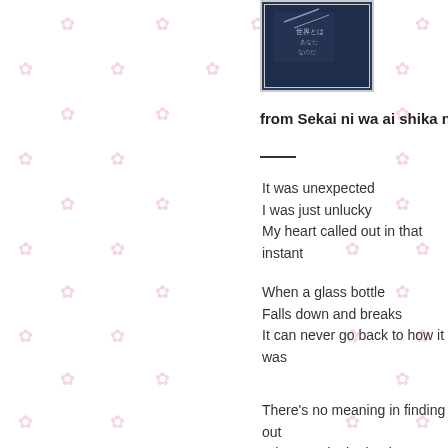[Figure (photo): Small album cover image showing a dark blue scene with Japanese text/chalkboard, framed with a thin border.]
from Sekai ni wa ai shika nai single.
———
It was unexpected
I was just unlucky
My heart called out in that instant
When a glass bottle
Falls down and breaks
It can never go back to how it was
There's no meaning in finding out
What was in the bottle
Spreading
Upon the asphalt
It's just a black stain now